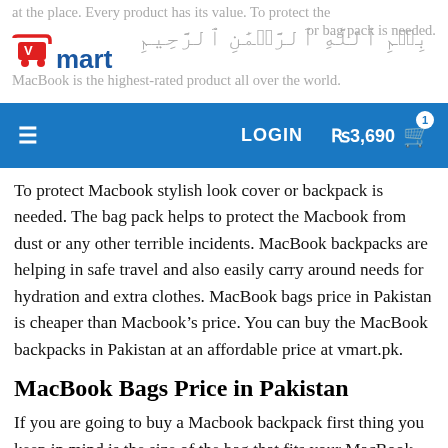at the place. Every product has its value. To protect the style of ... or bag pack is needed. MacBook is the highest-rated product all over the world.
[Figure (logo): Vmart logo - red shopping cart icon with 'mart' text in blue]
[Figure (other): Arabic Bismillah calligraphy text]
Navigation bar with hamburger menu, LOGIN button, Rs 3,690 cart with item count 1
To protect Macbook stylish look cover or backpack is needed. The bag pack helps to protect the Macbook from dust or any other terrible incidents. MacBook backpacks are helping in safe travel and also easily carry around needs for hydration and extra clothes. MacBook bags price in Pakistan is cheaper than Macbook’s price. You can buy the MacBook backpacks in Pakistan at an affordable price at vmart.pk.
MacBook Bags Price in Pakistan
If you are going to buy a Macbook backpack first thing you keep in mind is the size of the bag that fits your MacBook size. MacBook backpack is larger and more adaptable, making them ideal for traveling, having two straps at the back of the